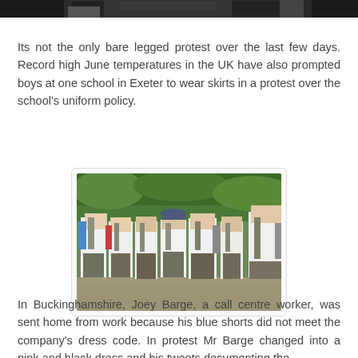[Figure (photo): Top portion of a photograph cropped at the top of the page, showing a dark/dark-toned image strip]
Its not the only bare legged protest over the last few days. Record high June temperatures in the UK have also prompted boys at one school in Exeter to wear skirts in a protest over the school's uniform policy.
[Figure (photo): Photograph of a group of school boys wearing white shirts, ties, and plaid/tartan skirts as part of a uniform protest, outdoors with green foliage in the background]
In Buckinghamshire, Joey Barge, a call centre worker, was sent home from work because his blue shorts did not meet the company's dress code. In protest Mr Barge changed into a pink and black dress and his tweets documenting the